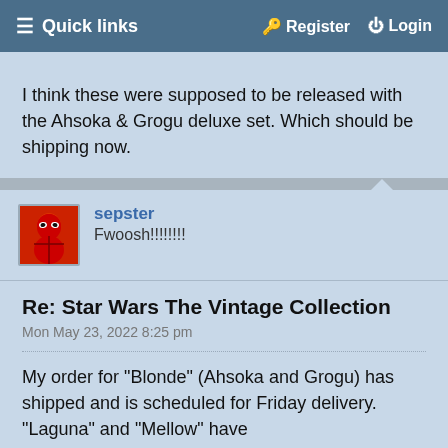≡ Quick links    🔑 Register    ⏻ Login
I think these were supposed to be released with the Ahsoka & Grogu deluxe set. Which should be shipping now.
sepster
Fwoosh!!!!!!!!
Re: Star Wars The Vintage Collection
Mon May 23, 2022 8:25 pm
My order for "Blonde" (Ahsoka and Grogu) has shipped and is scheduled for Friday delivery. "Laguna" and "Mellow" have